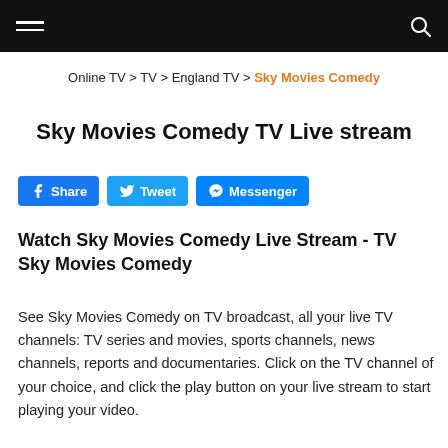Navigation bar with hamburger menu and search icon
Online TV > TV > England TV > Sky Movies Comedy
Sky Movies Comedy TV Live stream
Share  Tweet  Messenger
Watch Sky Movies Comedy Live Stream - TV Sky Movies Comedy
See Sky Movies Comedy on TV broadcast, all your live TV channels: TV series and movies, sports channels, news channels, reports and documentaries. Click on the TV channel of your choice, and click the play button on your live stream to start playing your video.